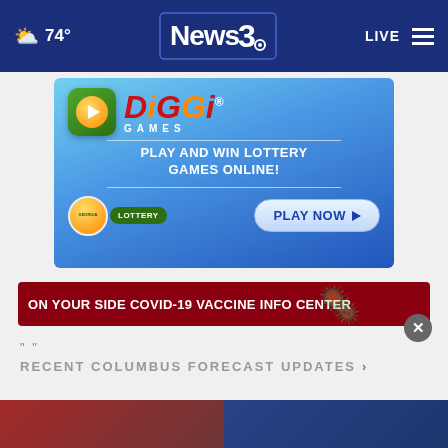74° News3 LIVE
[Figure (photo): DiGGi Games advertisement banner — Play and Win Lottery Games Online with Georgia Lottery. Blue gradient background, DiGGi Games logo with orange/red lettering, peach icon, PLAY NOW button.]
ON YOUR SIDE COVID-19 VACCINE INFO CENTER
RECENT COLUMBUS FORECAST UPDATES >